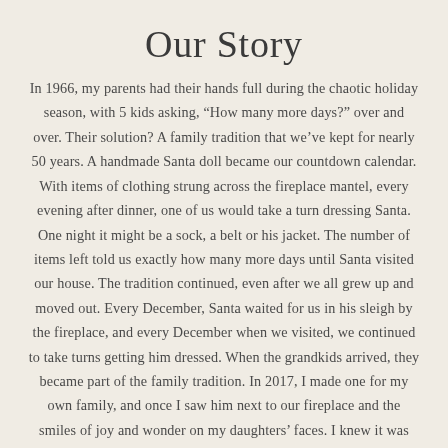Our Story
In 1966, my parents had their hands full during the chaotic holiday season, with 5 kids asking, “How many more days?” over and over. Their solution? A family tradition that we’ve kept for nearly 50 years. A handmade Santa doll became our countdown calendar. With items of clothing strung across the fireplace mantel, every evening after dinner, one of us would take a turn dressing Santa. One night it might be a sock, a belt or his jacket. The number of items left told us exactly how many more days until Santa visited our house. The tradition continued, even after we all grew up and moved out. Every December, Santa waited for us in his sleigh by the fireplace, and every December when we visited, we continued to take turns getting him dressed. When the grandkids arrived, they became part of the family tradition. In 2017, I made one for my own family, and once I saw him next to our fireplace and the smiles of joy and wonder on my daughters’ faces. I knew it was time to share